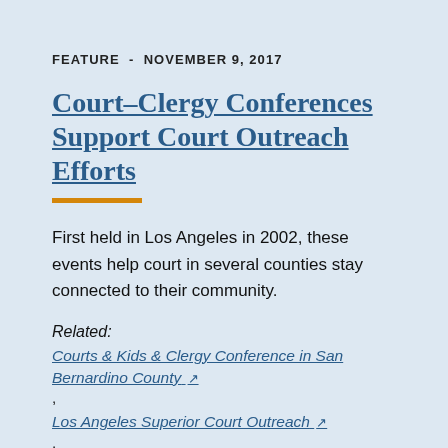FEATURE - NOVEMBER 9, 2017
Court–Clergy Conferences Support Court Outreach Efforts
First held in Los Angeles in 2002, these events help court in several counties stay connected to their community.
Related:
Courts & Kids & Clergy Conference in San Bernardino County ,
Los Angeles Superior Court Outreach ,
Court Outreach and Education Resources
LOS ANGELES   SACRAMENTO   SAN